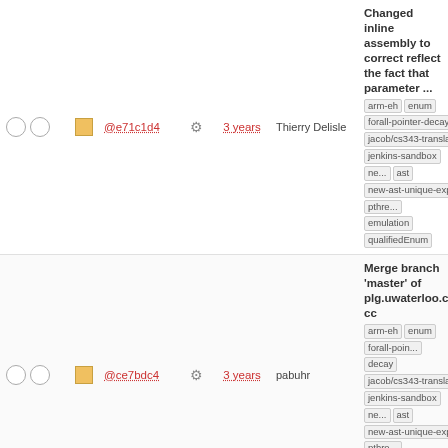|  |  | hash | gear | age | author | description |
| --- | --- | --- | --- | --- | --- | --- |
| ○○ | □ | @e71c1d4 | ⚙ | 3 years | Thierry Delisle | Changed inline assembly to correct reflect the fact that parameter ... arm-eh enum forall-pointer-decay jacob/cs343-translation jenkins-sandbox new-ast ast new-ast-unique-expr pthreads-emulation qualifiedEnum |
| ○○ | □ | @ce7bdc4 | ⚙ | 3 years | pabuhr | Merge branch 'master' of plg.uwaterloo.ca:software/cfa-cc arm-eh enum forall-pointer-decay jacob/cs343-translation jenkins-sandbox new-ast ast new-ast-unique-expr pthreads-emulation qualifiedEnum |
| ○○ | □ | @ba3df4d | ⚙ | 3 years | pabuhr | remove unused "int i" decla... arm-eh enum forall-pointer-decay jacob/cs343-translation jenkins-sandbox new-ast ast new-ast-unique-expr pthreads-emulation qualifiedEnum |
| ○○ | □ | @05035b3 | ⚙ | 3 years | pabuhr | temporary patch to set thread name using direct update v... arm-eh enum forall-pointer-decay jacob/cs343-translation jenkins-sandbox new-ast ast new-ast-unique-expr pthreads-emulation qualifiedEnum |
| ○○ | □ | @78cdb06 | ⚙ | 3 years | Thierry Delisle | Modified Lvalue cast handler to ignore top level dereference... arm-eh enum forall-pointer-decay jacob/cs343-translation jenkins-sandbox new-ast ast new-ast-unique-expr pthreads-emulation qualifiedEnum |